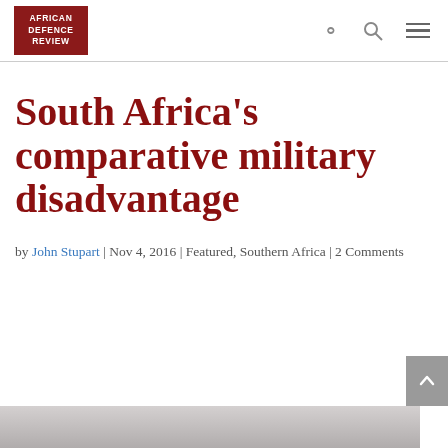AFRICAN DEFENCE REVIEW
South Africa’s comparative military disadvantage
by John Stupart | Nov 4, 2016 | Featured, Southern Africa | 2 Comments
[Figure (photo): Photo strip at the bottom of the page, partially visible, appears to be a grey/neutral image]